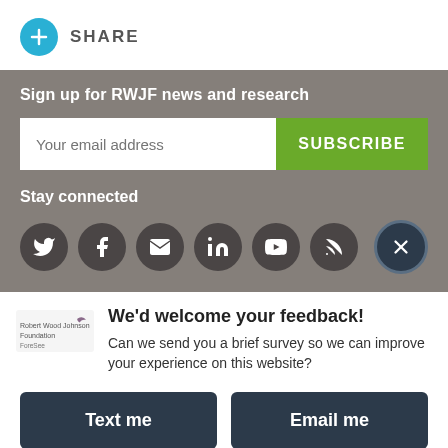[Figure (other): Blue circle with plus sign and SHARE label]
Sign up for RWJF news and research
Your email address [input field] SUBSCRIBE [button]
Stay connected
[Figure (other): Social media icons: Twitter, Facebook, Email, LinkedIn, YouTube, RSS, and close X button]
[Figure (logo): Robert Wood Johnson Foundation ForeSee logo]
We'd welcome your feedback!
Can we send you a brief survey so we can improve your experience on this website?
Text me
Email me
Powered by ForeSee